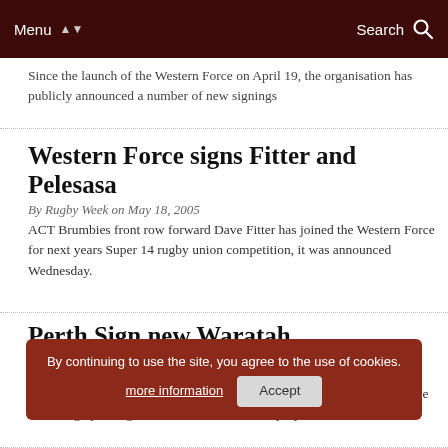Menu | Search
Since the launch of the Western Force on April 19, the organisation has publicly announced a number of new signings
Western Force signs Fitter and Pelesasa
By Rugby Week on May 18, 2005
ACT Brumbies front row forward Dave Fitter has joined the Western Force for next years Super 14 rugby union competition, it was announced Wednesday.
Perth Sign new Waratah
By Rugby Week on April 27, 2005
The new Western Force Super 14 rugby franchise continued its aggressive recruiting by luring former New South Wales prop Gareth Ha...
By continuing to use the site, you agree to the use of cookies. more information | Accept